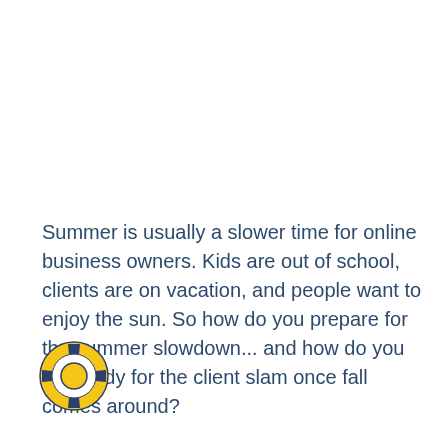Summer is usually a slower time for online business owners. Kids are out of school, clients are on vacation, and people want to enjoy the sun. So how do you prepare for the summer slowdown... and how do you get ready for the client slam once fall comes around?
Check out these summer slowdown tips, so you can prepare your business for summer, and for the seasonal changes in your business!
[Figure (illustration): Yellow circular lifesaver/lifebuoy icon with dark navy cross/spokes pattern, positioned at bottom left]